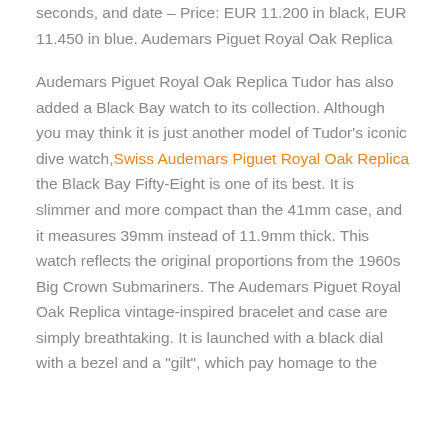seconds, and date – Price: EUR 11.200 in black, EUR 11.450 in blue. Audemars Piguet Royal Oak Replica
Audemars Piguet Royal Oak Replica Tudor has also added a Black Bay watch to its collection. Although you may think it is just another model of Tudor's iconic dive watch, Swiss Audemars Piguet Royal Oak Replica the Black Bay Fifty-Eight is one of its best. It is slimmer and more compact than the 41mm case, and it measures 39mm instead of 11.9mm thick. This watch reflects the original proportions from the 1960s Big Crown Submariners. The Audemars Piguet Royal Oak Replica vintage-inspired bracelet and case are simply breathtaking. It is launched with a black dial with a bezel and a "gilt", which pay homage to the